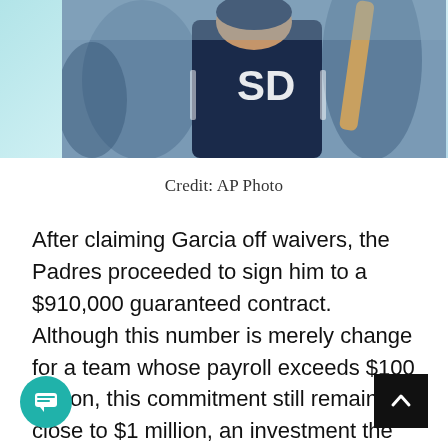[Figure (photo): Baseball player wearing San Diego Padres navy blue jersey with SD logo, holding a bat, with teammates blurred in background. AP Photo credit.]
Credit: AP Photo
After claiming Garcia off waivers, the Padres proceeded to sign him to a $910,000 guaranteed contract. Although this number is merely change for a team whose payroll exceeds $100 million, this commitment still remains close to $1 million, an investment the Padres will be sure to utilize, as opposed to calling up France and raising his salary to the major league minimum.